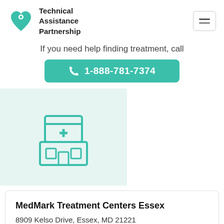Technical Assistance Partnership
If you need help finding treatment, call
1-888-781-7374
[Figure (illustration): A teal-colored medical facility / pharmacy building icon on a light mint green background]
MedMark Treatment Centers Essex
8909 Kelso Drive, Essex, MD 21221